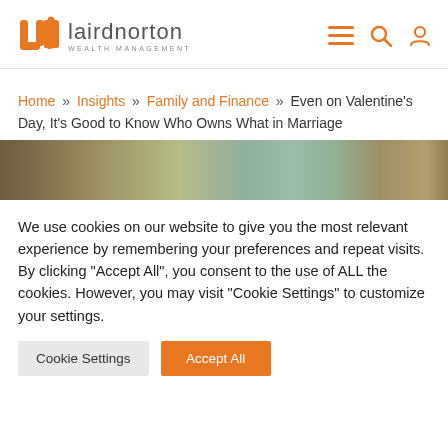[Figure (logo): Laird Norton Wealth Management logo with orange LN icon and gray text]
Home » Insights » Family and Finance » Even on Valentine's Day, It's Good to Know Who Owns What in Marriage
[Figure (photo): Hero image strip showing trees and foliage]
We use cookies on our website to give you the most relevant experience by remembering your preferences and repeat visits. By clicking "Accept All", you consent to the use of ALL the cookies. However, you may visit "Cookie Settings" to customize your settings.
Cookie Settings | Accept All